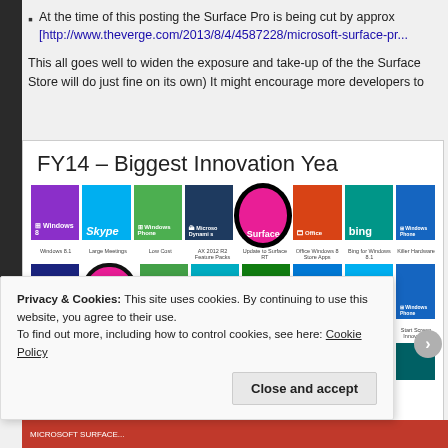At the time of this posting the Surface Pro is being cut by approx [http://www.theverge.com/2013/8/4/4587228/microsoft-surface-pr...
This all goes well to widen the exposure and take-up of the the Surface ... Store will do just fine on its own) It might encourage more developers to...
[Figure (screenshot): Microsoft FY14 – Biggest Innovation Year slide showing a grid of colored tiles for Windows 8, Skype, Windows Phone, Microsoft Dynamics, Surface (highlighted with circles), Office, Bing, and other products arranged in rows with subtitles below each tile.]
Privacy & Cookies: This site uses cookies. By continuing to use this website, you agree to their use.
To find out more, including how to control cookies, see here: Cookie Policy
Close and accept